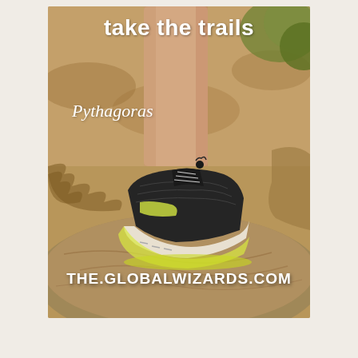[Figure (photo): Advertisement photo showing a trail running shoe (black and white/cream with yellow-green sole details) worn on rocky terrain. A person's leg is visible stepping on rocks with green foliage in the background. Text overlays include 'take the trails', 'Pythagoras', and 'THE.GLOBALWIZARDS.COM'.]